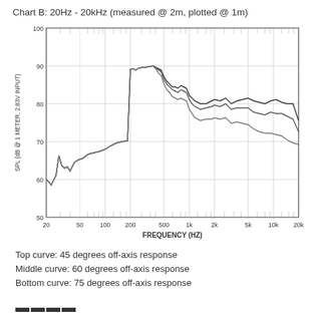Chart B: 20Hz - 20kHz (measured @ 2m, plotted @ 1m)
[Figure (continuous-plot): Frequency response curves showing SPL vs frequency for three off-axis angles (45, 60, 75 degrees). Curves rise from ~60dB at 20Hz, peak around 88-89dB at 200Hz, then gradually decline with spread between curves increasing at higher frequencies. Multiple curves converge below 1kHz and diverge above 1kHz showing off-axis discrimination.]
Top curve: 45 degrees off-axis response
Middle curve: 60 degrees off-axis response
Bottom curve: 75 degrees off-axis response